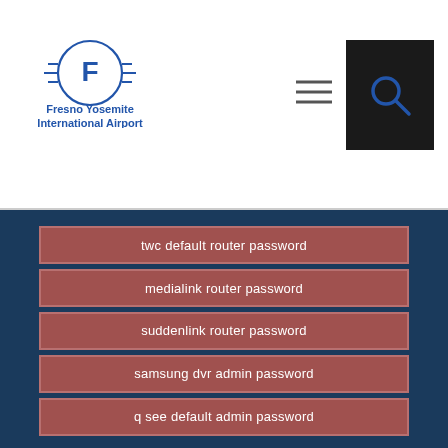[Figure (logo): Fresno Yosemite International Airport logo with stylized F in circle]
twc default router password
medialink router password
suddenlink router password
samsung dvr admin password
q see default admin password